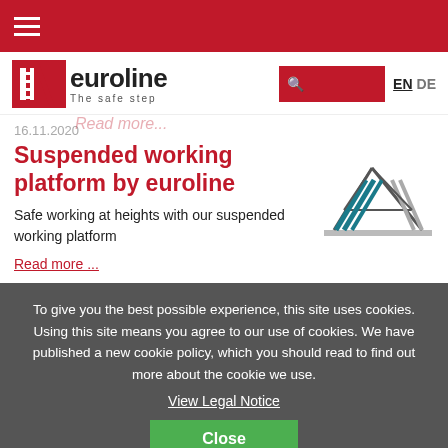[Figure (logo): Euroline logo with red ladder icon and text 'euroline The safe step']
16.11.2020
Suspended working platform by euroline
Safe working at heights with our suspended working platform
Read more ...
[Figure (illustration): Illustration of a suspended working platform structure with triangular supports]
To give you the best possible experience, this site uses cookies. Using this site means you agree to our use of cookies. We have published a new cookie policy, which you should read to find out more about the cookie we use.
View Legal Notice
Close